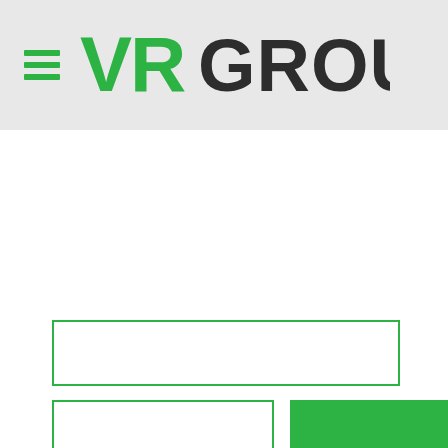[Figure (logo): VR Group logo with hamburger menu icon (3 green horizontal lines) and 'VR GROUP' text where VR is in green stylized font and GROUP is in dark charcoal bold font, on a light grey background header bar]
[Figure (screenshot): Web form UI showing two input fields with green borders and one green filled button: a wide text input field on top, a narrower text input field bottom-left, and a solid green button bottom-right]